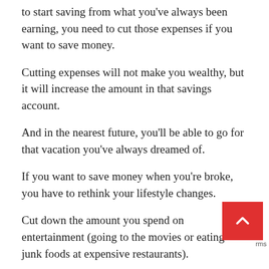to start saving from what you've always been earning, you need to cut those expenses if you want to save money.
Cutting expenses will not make you wealthy, but it will increase the amount in that savings account.
And in the nearest future, you'll be able to go for that vacation you've always dreamed of.
If you want to save money when you're broke, you have to rethink your lifestyle changes.
Cut down the amount you spend on entertainment (going to the movies or eating junk foods at expensive restaurants).
Use public transportation to save money on gas, make your meals at home.